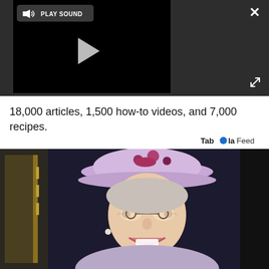[Figure (screenshot): Video player with dark background showing a play button and 'PLAY SOUND' button. Close (X) button top right and expand/fullscreen button bottom right.]
18,000 articles, 1,500 how-to videos, and 7,000 recipes.
Taboola Feed
[Figure (photo): Photo of Queen Elizabeth II smiling, wearing a lavender/purple hat with decorative gems, and glasses. She is outdoors in what appears to be an official event setting.]